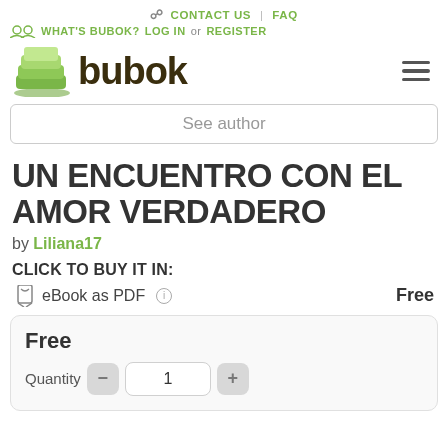CONTACT US | FAQ
WHAT'S BUBOK? LOG IN or REGISTER
[Figure (logo): Bubok logo with green stacked pages icon and bold dark text 'bubok']
See author
UN ENCUENTRO CON EL AMOR VERDADERO
by Liliana17
CLICK TO BUY IT IN:
eBook as PDF   Free
Free
Quantity  1